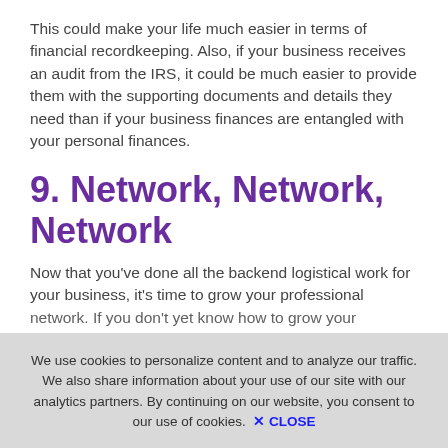This could make your life much easier in terms of financial recordkeeping. Also, if your business receives an audit from the IRS, it could be much easier to provide them with the supporting documents and details they need than if your business finances are entangled with your personal finances.
9. Network, Network, Network
Now that you've done all the backend logistical work for your business, it's time to grow your professional network. If you don't yet know how to grow your network...
We use cookies to personalize content and to analyze our traffic. We also share information about your use of our site with our analytics partners. By continuing on our website, you consent to our use of cookies. ✕ CLOSE